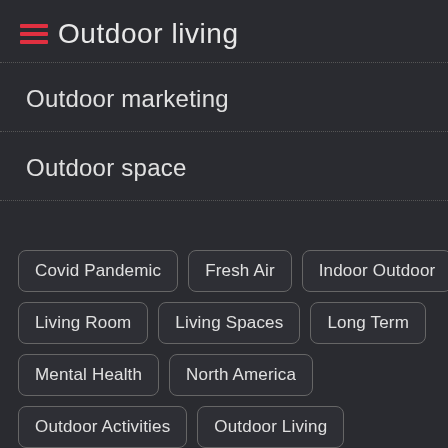Outdoor living
Outdoor marketing
Outdoor space
Covid Pandemic
Fresh Air
Indoor Outdoor
Living Room
Living Spaces
Long Term
Mental Health
North America
Outdoor Activities
Outdoor Living
Outdoor Spaces
Spending Time
Spend Time